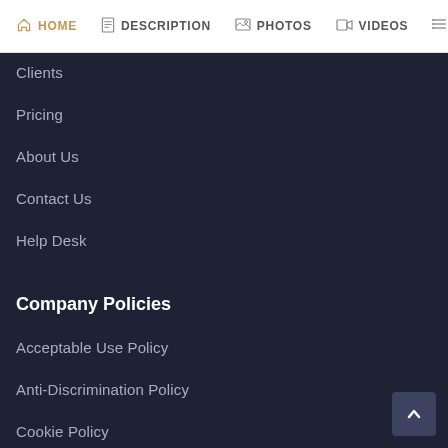HOME | DESCRIPTION | PHOTOS | VIDEOS | (menu)
Clients
Pricing
About Us
Contact Us
Help Desk
Company Policies
Acceptable Use Policy
Anti-Discrimination Policy
Cookie Policy
DCMA Policy
Disclaimer
Income Disclosure
Privacy Policy